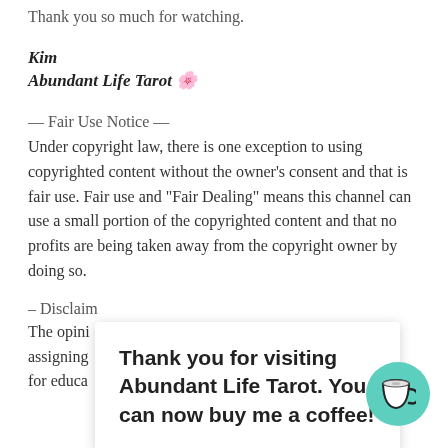Thank you so much for watching.
Kim
Abundant Life Tarot 🌸
— Fair Use Notice —
Under copyright law, there is one exception to using copyrighted content without the owner's consent and that is fair use. Fair use and "Fair Dealing" means this channel can use a small portion of the copyrighted content and that no profits are being taken away from the copyright owner by doing so.
– Disclaimer –
The opini... way assigning... This for educa...
Thank you for visiting Abundant Life Tarot. You can now buy me a coffee!